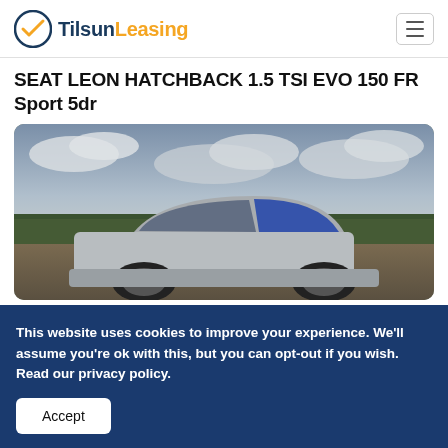TilsunLeasing
SEAT LEON HATCHBACK 1.5 TSI EVO 150 FR Sport 5dr
[Figure (photo): Photo of a silver SEAT Leon hatchback parked outdoors with cloudy sky and trees in background]
This website uses cookies to improve your experience. We'll assume you're ok with this, but you can opt-out if you wish. Read our privacy policy.
Accept